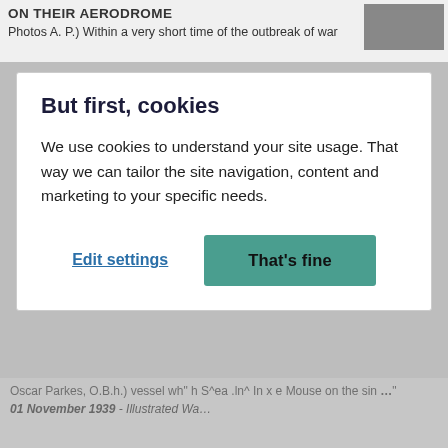ON THEIR AERODROME
Photos A. P.) Within a very short time of the outbreak of war
But first, cookies
We use cookies to understand your site usage. That way we can tailor the site navigation, content and marketing to your specific needs.
Edit settings
That's fine
Oscar Parkes, O.B.h.) vessel wh" h S^ea .ln^ In x e Mouse on the sin …"
01 November 1939 - Illustrated Wa…
Graphic “… TEN SECONDS AFTER THE RECEPTION OF THE AIR-RAID ALARM AN A. -A. GUN “POSITION” REACHES…